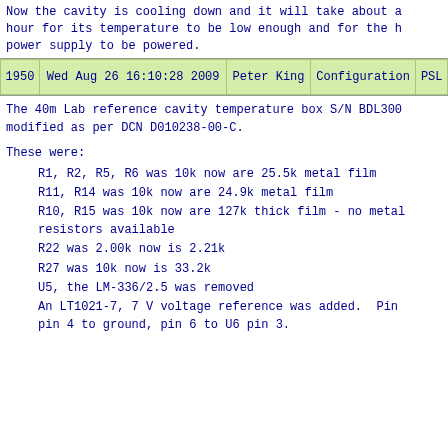Now the cavity is cooling down and it will take about a hour for its temperature to be low enough and for the h power supply to be powered.
| 1950 | Wed Aug 26 16:10:28 2009 | Peter King | Configuration | PSL |
| --- | --- | --- | --- | --- |
The 40m Lab reference cavity temperature box S/N BDL300 modified as per DCN D010238-00-C.
These were:
R1, R2, R5, R6 was 10k now are 25.5k metal film
R11, R14 was 10k now are 24.9k metal film
R10, R15 was 10k now are 127k thick film - no metal resistors available
R22 was 2.00k now is 2.21k
R27 was 10k now is 33.2k
U5, the LM-336/2.5 was removed
An LT1021-7, 7 V voltage reference was added.  Pin pin 4 to ground, pin 6 to U6 pin 3.